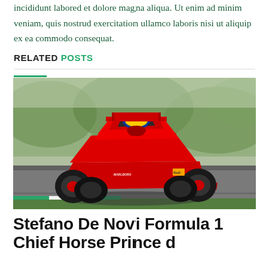incididunt labored et dolore magna aliqua. Ut enim ad minim veniam, quis nostrud exercitation ullamco laboris nisi ut aliquip ex ea commodo consequat.
RELATED POSTS
[Figure (photo): Red Formula 1 Ferrari racing car on a circuit track, viewed from front-left angle, with blurred green background]
Stefano De Novi Formula 1 Chief Horse Prince d...